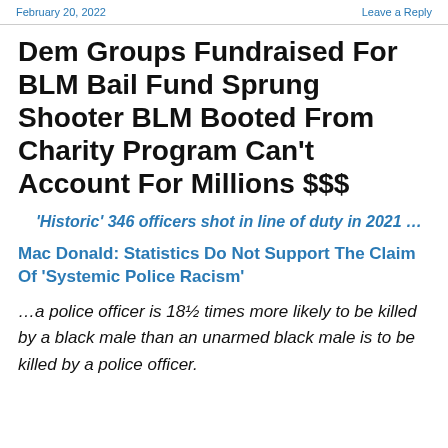February 20, 2022   Leave a Reply
Dem Groups Fundraised For BLM Bail Fund Sprung Shooter BLM Booted From Charity Program Can't Account For Millions $$$
‘Historic’ 346 officers shot in line of duty in 2021 …
Mac Donald: Statistics Do Not Support The Claim Of ‘Systemic Police Racism’
…a police officer is 18½ times more likely to be killed by a black male than an unarmed black male is to be killed by a police officer.